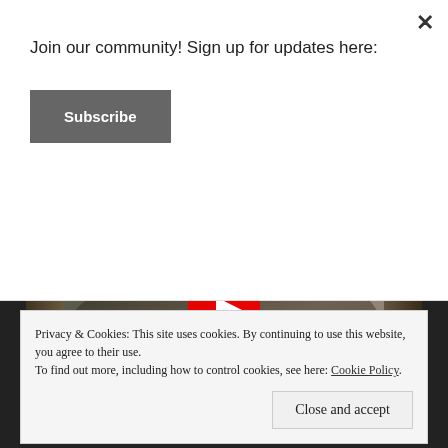Join our community! Sign up for updates here:
Subscribe
[Figure (screenshot): YouTube video thumbnail showing people in a library setting, with a large red YouTube play button in the center.]
Privacy & Cookies: This site uses cookies. By continuing to use this website, you agree to their use.
To find out more, including how to control cookies, see here: Cookie Policy
Close and accept
Barbados.